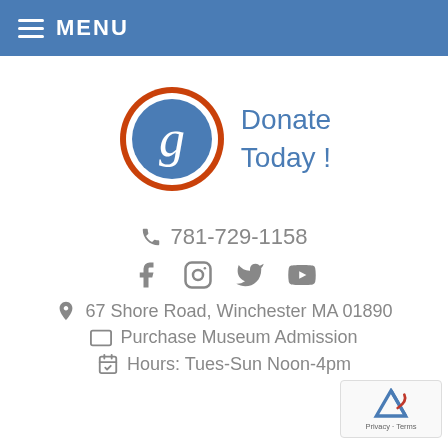MENU
[Figure (logo): Circular logo with orange and white ring border, blue interior with stylized 'g' letter in white, next to 'Donate Today!' text in blue]
781-729-1158
[Figure (infographic): Social media icons: Facebook, Instagram, Twitter, YouTube]
67 Shore Road, Winchester MA 01890
Purchase Museum Admission
Hours: Tues-Sun Noon-4pm
[Figure (logo): reCAPTCHA logo with Privacy - Terms footer text]